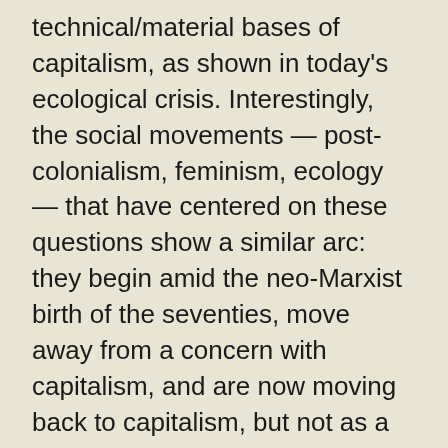technical/material bases of capitalism, as shown in today's ecological crisis. Interestingly, the social movements — post-colonialism, feminism, ecology — that have centered on these questions show a similar arc: they begin amid the neo-Marxist birth of the seventies, move away from a concern with capitalism, and are now moving back to capitalism, but not as a simple return to the 1970s. All three also have drawn on what might be termed Weberian concerns: law, authority, motivation and the state in the make-up of capitalism. Some key questions: what is the relation of the family to capitalism? What are the implications of linking the family and capitalism? What are the